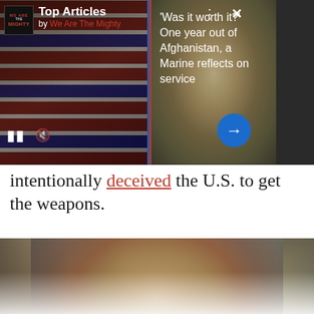Top Articles by We Are The Mighty
[Figure (photo): Left panel showing flag-draped coffins or military hardware with American flag pattern]
[Figure (photo): Center panel showing soldier with sunglasses taking selfie with group of people]
'Was it worth it?' One year out of Afghanistan, a Marine reflects on service
intentionally deceived the U.S. to get the weapons.
[Figure (photo): Close-up portrait photo of a middle-aged man with short dark hair on a city street]